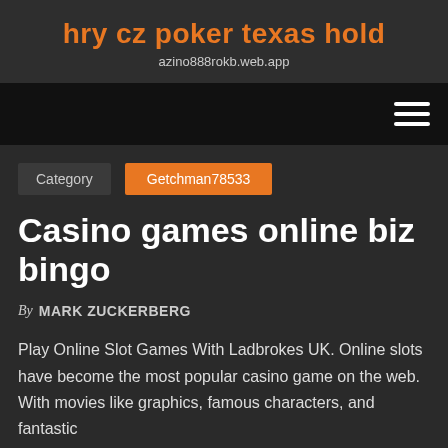hry cz poker texas hold
azino888rokb.web.app
Category | Getchman78533
Casino games online biz bingo
By MARK ZUCKERBERG
Play Online Slot Games With Ladbrokes UK. Online slots have become the most popular casino game on the web. With movies like graphics, famous characters, and fantastic